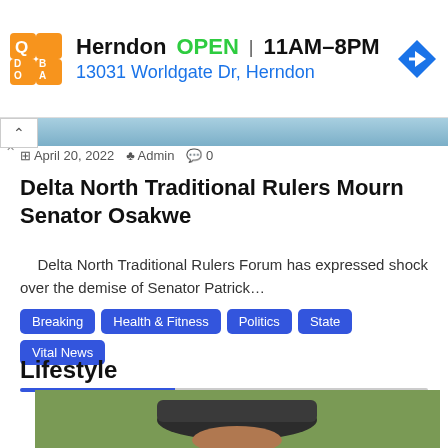[Figure (other): Qdoba restaurant advertisement banner showing logo, Herndon location, OPEN status, hours 11AM-8PM, address 13031 Worldgate Dr Herndon, and navigation arrow icon]
[Figure (photo): Partial header image strip showing what appears to be a person]
April 20, 2022  Admin  0
Delta North Traditional Rulers Mourn Senator Osakwe
Delta North Traditional Rulers Forum has expressed shock over the demise of Senator Patrick...
Breaking
Health & Fitness
Politics
State
Vital News
Lifestyle
[Figure (photo): Person wearing a dark wide-brim hat against an olive green background, photo cropped at bottom of page]